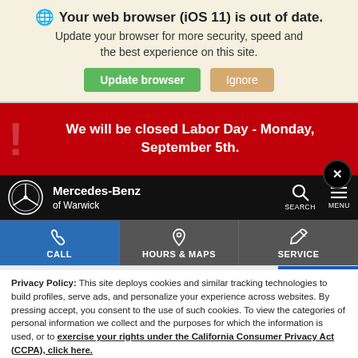Your web browser (iOS 11) is out of date. Update your browser for more security, speed and the best experience on this site.
[Figure (screenshot): Browser update banner with Update browser (green) and Ignore (tan) buttons]
We will be closed Labor Day - Monday, September 5th.
[Figure (logo): Mercedes-Benz of Warwick dealer navigation bar with logo, search and menu icons]
[Figure (infographic): Quick links bar: CALL, HOURS & MAPS, SERVICE]
Privacy Policy: This site deploys cookies and similar tracking technologies to build profiles, serve ads, and personalize your experience across websites. By pressing accept, you consent to the use of such cookies. To view the categories of personal information we collect and the purposes for which the information is used, or to exercise your rights under the California Consumer Privacy Act (CCPA), click here.
Language: English ∨ Powered by ComplyAuto
Accept and Continue →   California Privacy Disclosures   ×